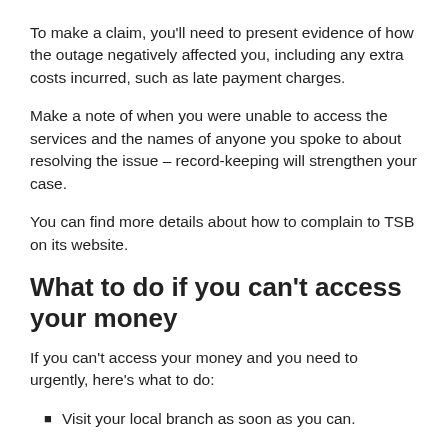To make a claim, you'll need to present evidence of how the outage negatively affected you, including any extra costs incurred, such as late payment charges.
Make a note of when you were unable to access the services and the names of anyone you spoke to about resolving the issue – record-keeping will strengthen your case.
You can find more details about how to complain to TSB on its website.
What to do if you can't access your money
If you can't access your money and you need to urgently, here's what to do:
Visit your local branch as soon as you can.